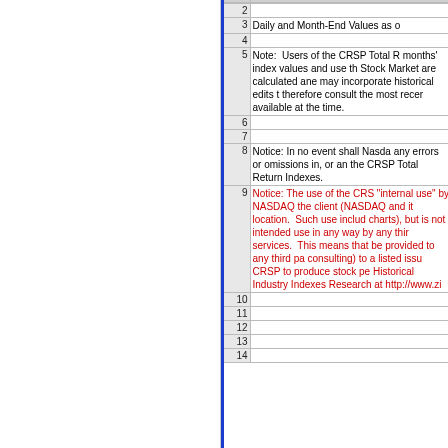| Row | Content |
| --- | --- |
|  |  |
| 2 |  |
| 3 | Daily and Month-End Values as o |
| 4 |  |
| 5 | Note:  Users of the CRSP Total R months' index values and use th Stock Market are calculated ane may incorporate historical edits t therefore consult the most recer available at the time. |
| 6 |  |
| 7 |  |
| 8 | Notice: In no event shall Nasda any errors or omissions in, or an the CRSP Total Return Indexes. |
| 9 | Notice: The use of the CRS "internal use" by NASDAQ the client (NASDAQ and it location.  Such use includ charts), but is not intended use in any way by any thir services.  This means that be provided to any third pa consulting) to a listed issu CRSP to produce stock pe Historical Industry Indexes Research at http://www.zi |
| 10 |  |
| 11 |  |
| 12 |  |
| 13 |  |
| 14 |  |